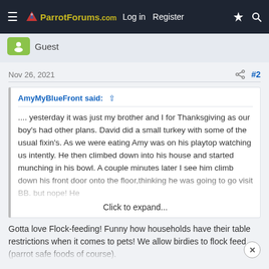ParrotForums.com  Log in  Register
Guest
Nov 26, 2021  #2
AmyMyBlueFront said: .... yesterday it was just my brother and I for Thanksgiving as our boy's had other plans. David did a small turkey with some of the usual fixin's. As we were eating Amy was on his playtop watching us intently. He then climbed down into his house and started munching in his bowl. A couple minutes later I see him climb down his front door onto the floor,thinking he was going to go visit BB. but nope! He  Click to expand...
Gotta love Flock-feeding! Funny how households have their table restrictions when it comes to pets! We allow birdies to flock feed (parrot safe foods of course).